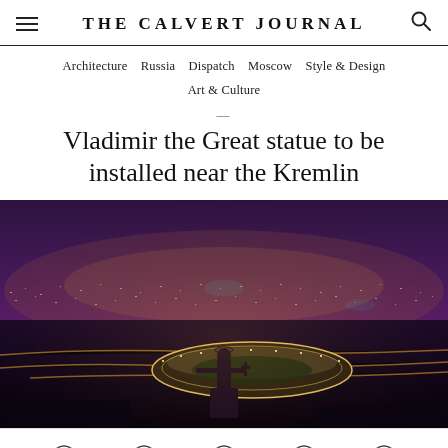THE CALVERT JOURNAL
Architecture  Russia  Dispatch  Moscow  Style & Design  Art & Culture
Vladimir the Great statue to be installed near the Kremlin
[Figure (photo): Night aerial panorama of Moscow cityscape with the Luzhniki stadium illuminated in the foreground and a statue silhouette in the lower center, city lights stretching to the horizon under a purple-tinted sky.]
Social sharing icons: Facebook, Messenger, Twitter, WhatsApp, Email